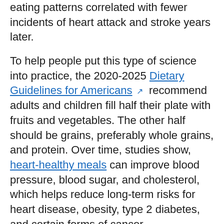eating patterns correlated with fewer incidents of heart attack and stroke years later.
To help people put this type of science into practice, the 2020-2025 Dietary Guidelines for Americans recommend adults and children fill half their plate with fruits and vegetables. The other half should be grains, preferably whole grains, and protein. Over time, studies show, heart-healthy meals can improve blood pressure, blood sugar, and cholesterol, which helps reduce long-term risks for heart disease, obesity, type 2 diabetes, and certain forms of cancer.
One way to make heart-healthy food choices become automatic, Brown notes, is to borrow lessons from behavioral economics. “When you display a bowl of fruit and vegetables at home,